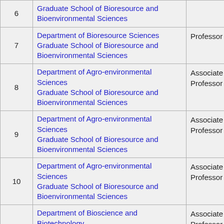| # | Department / Graduate School | Rank |
| --- | --- | --- |
| 6 | Graduate School of Bioresource and Bioenvironmental Sciences |  |
| 7 | Department of Bioresource Sciences
Graduate School of Bioresource and Bioenvironmental Sciences | Professor |
| 8 | Department of Agro-environmental Sciences
Graduate School of Bioresource and Bioenvironmental Sciences | Associate Professor |
| 9 | Department of Agro-environmental Sciences
Graduate School of Bioresource and Bioenvironmental Sciences | Associate Professor |
| 10 | Department of Agro-environmental Sciences
Graduate School of Bioresource and Bioenvironmental Sciences | Associate Professor |
| 11 | Department of Bioscience and Biotechnology
Graduate School of Bioresource and Bioenvironmental Sciences | Associate Professor |